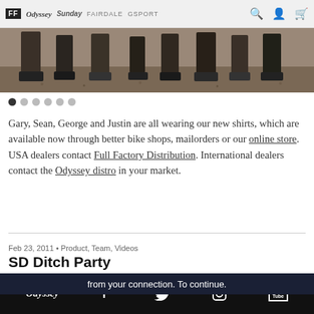FF  Odyssey  Sunday  FAIRDALE  GSPORT
[Figure (photo): Cropped photo showing lower legs and feet of multiple people standing on gravel/dirt ground]
Gary, Sean, George and Justin are all wearing our new shirts, which are available now through better bike shops, mailorders or our online store. USA dealers contact Full Factory Distribution. International dealers contact the Odyssey distro in your market.
Feb 23, 2011 • Product, Team, Videos
SD Ditch Party
from your connection. To continue.
Odyssey  f  Twitter  Instagram  YouTube